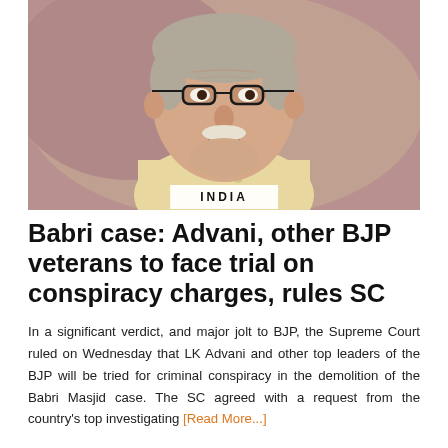[Figure (photo): Close-up photo of an elderly Indian man with white hair and moustache, wearing glasses and a light yellow kurta, looking upward against a pinkish-purple background.]
INDIA
Babri case: Advani, other BJP veterans to face trial on conspiracy charges, rules SC
In a significant verdict, and major jolt to BJP, the Supreme Court ruled on Wednesday that LK Advani and other top leaders of the BJP will be tried for criminal conspiracy in the demolition of the Babri Masjid case. The SC agreed with a request from the country’s top investigating [Read More...]